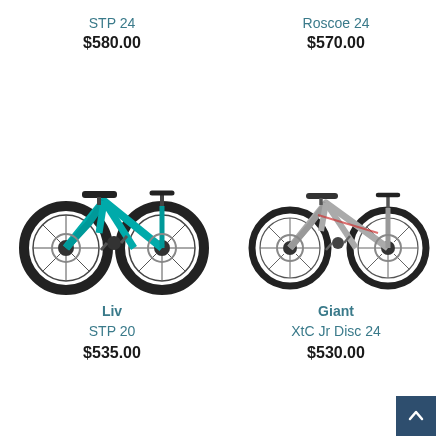STP 24
$580.00
Roscoe 24
$570.00
[Figure (photo): Teal/turquoise children's mountain bike (STP 20) with fat tires and disc brakes, facing right]
[Figure (photo): Silver/grey children's mountain bike (Giant XtC Jr Disc 24) with disc brakes, facing right]
Liv
STP 20
$535.00
Giant
XtC Jr Disc 24
$530.00